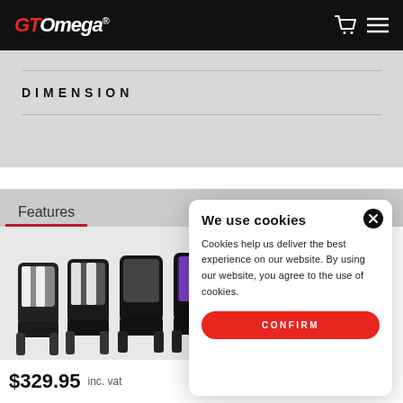GT Omega® — website header with cart and menu icons
DIMENSION
Features
[Figure (photo): Row of GT Omega racing-style gaming chairs in various color combinations (black/white, black/red, black/purple, black/red) displayed side by side]
We use cookies
Cookies help us deliver the best experience on our website. By using our website, you agree to the use of cookies.
CONFIRM
$329.95 inc. vat